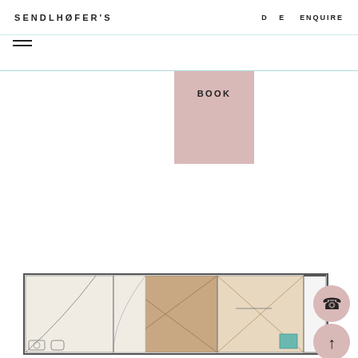SENDLHOFER'S  D  E  ENQUIRE
≡ (hamburger menu icon)
BOOK
[Figure (schematic): Floor plan / architectural layout of a hotel room or apartment showing furniture and room arrangement in top-down view with tan/brown floors, white areas, and a small teal element. Two circular UI buttons (phone and up-arrow) are overlaid at the bottom right.]